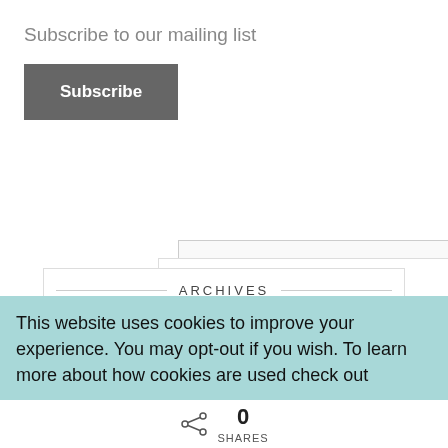Subscribe to our mailing list
Subscribe
ARCHIVES
February 2022
December 2021
March 2021
February 2021
January 2021
This website uses cookies to improve your experience. You may opt-out if you wish. To learn more about how cookies are used check out
0 SHARES